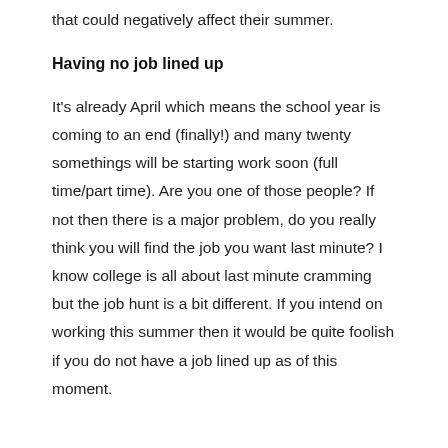that could negatively affect their summer.
Having no job lined up
It's already April which means the school year is coming to an end (finally!) and many twenty somethings will be starting work soon (full time/part time). Are you one of those people? If not then there is a major problem, do you really think you will find the job you want last minute? I know college is all about last minute cramming but the job hunt is a bit different. If you intend on working this summer then it would be quite foolish if you do not have a job lined up as of this moment.